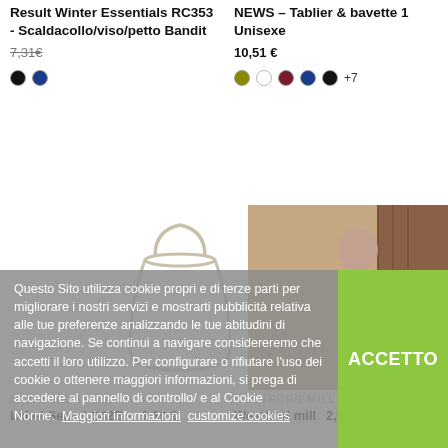Result Winter Essentials RC353 - Scaldacollo/viso/petto Bandit
7,20 € 7,31€
NEWS – Tablier & bavette 1 Unisexe
10,51 €
[Figure (illustration): Color swatches: black and dark blue dots for left product]
[Figure (illustration): Color swatches: olive, white, dark red, navy, black dots plus +7 for right product]
[Figure (photo): White rope handle bag visible partially in center of page]
[Figure (photo): Fashion photo of a woman in pink/mauve outfit sitting outdoors]
Questo Sito utilizza cookie propri e di terze parti per migliorare i nostri servizi e mostrarti pubblicità relativa alle tue preferenze analizzando le tue abitudini di navigazione. Se continui a navigare considereremo che accetti il loro utilizzo. Per configurare o rifiutare l'uso dei cookie o ottenere maggiori informazioni, si prega di accedere al pannello di controllo/ e al Cookie Norme.  Maggiori informazioni  customize cookies
ACCETTO
LABEL SERIE
WESTFORD MILL
Label Serie LS42B - ...
1,19 €
Westford mill
2,58 €